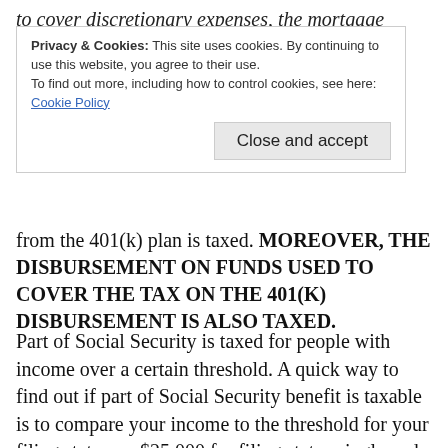to cover discretionary expenses, the mortgage
Privacy & Cookies: This site uses cookies. By continuing to use this website, you agree to their use.
To find out more, including how to control cookies, see here:
Cookie Policy

Close and accept
from the 401(k) plan is taxed. MOREOVER, THE DISBURSEMENT ON FUNDS USED TO COVER THE TAX ON THE 401(K) DISBURSEMENT IS ALSO TAXED.
Part of Social Security is taxed for people with income over a certain threshold. A quick way to find out if part of Social Security benefit is taxable is to compare your income to the threshold for your filing status — $25,000 for filing status single and $32,000 for filing status